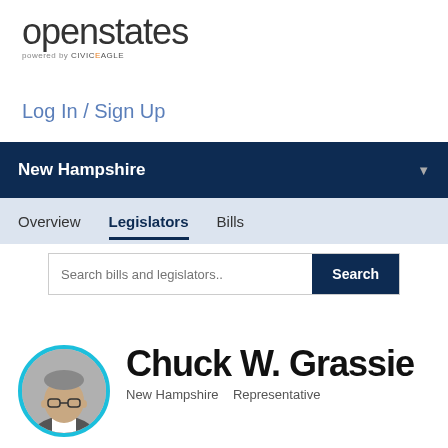[Figure (logo): OpenStates logo with 'powered by CIVICEAGLE' tagline]
Log In / Sign Up
New Hampshire
Overview   Legislators   Bills
Search bills and legislators..
Chuck W. Grassie
New Hampshire    Representative